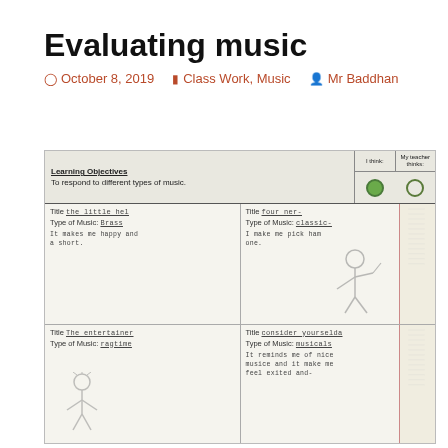Evaluating music
October 8, 2019   Class Work, Music   Mr Baddhan
[Figure (photo): A handwritten student worksheet about evaluating music, showing a learning objective 'To respond to different types of music' with green circle ratings, and four cells with music pieces: 'The little red' (Type of Music: Brass), 'Four ner-' (Type of Music: classic-), 'The entertainer' (Type of Music: ragtime), and 'consider yourselda' (Type of Music: musicals). Student has written responses and drawn stick figures.]